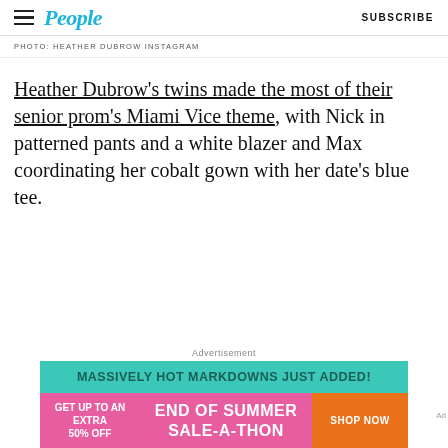People | SUBSCRIBE
PHOTO: HEATHER DUBROW INSTAGRAM
Heather Dubrow's twins made the most of their senior prom's Miami Vice theme, with Nick in patterned pants and a white blazer and Max coordinating her cobalt gown with her date's blue tee.
[Figure (infographic): Advertisement banner: 'MASSIVELY HOT MARKDOWNS JUST ADDED!' on teal background; below: pink section with 'GET UP TO AN EXTRA 50% OFF', 'END OF SUMMER SALE-A-THON', and orange 'SHOP NOW' button]